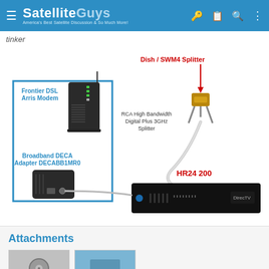SatelliteGuys — America's Best Satellite Discussion & So Much More!
tinker
[Figure (network-graph): Network diagram showing: Dish / SWM4 Splitter connected to RCA High Bandwidth Digital Plus 3GHz Splitter, which connects to HR24 200 receiver. Frontier DSL Arris Modem connected via blue line to Broadband DECA Adapter DECABB1MR0, which connects via coax cable to the HR24 200.]
Attachments